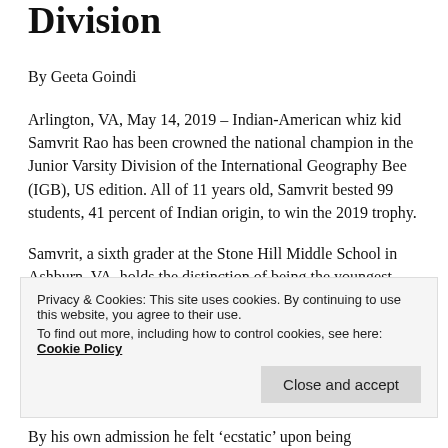Division
By Geeta Goindi
Arlington, VA, May 14, 2019 – Indian-American whiz kid Samvrit Rao has been crowned the national champion in the Junior Varsity Division of the International Geography Bee (IGB), US edition. All of 11 years old, Samvrit bested 99 students, 41 percent of Indian origin, to win the 2019 trophy.
Samvrit, a sixth grader at the Stone Hill Middle School in Ashburn, VA, holds the distinction of being the youngest champion to date in the junior varsity division. He was
Privacy & Cookies: This site uses cookies. By continuing to use this website, you agree to their use.
To find out more, including how to control cookies, see here: Cookie Policy
By his own admission he felt 'ecstatic' upon being